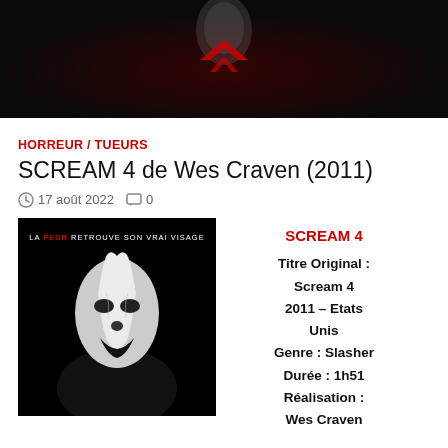[Figure (photo): Dark background with ghostface mask silhouette visible at top, red chevron/arrow shapes, dark horror movie aesthetic]
HORREUR / TUEURS
SCREAM 4 de Wes Craven (2011)
17 août 2022  0
[Figure (photo): Scream 4 movie poster: ghostface mask (white distorted face) on black background, with text 'LA PEUR RETROUVE SON VRAI VISAGE']
SCREAM 4
Titre Original : Scream 4
2011 – Etats Unis
Genre : Slasher
Durée : 1h51
Réalisation : Wes Craven